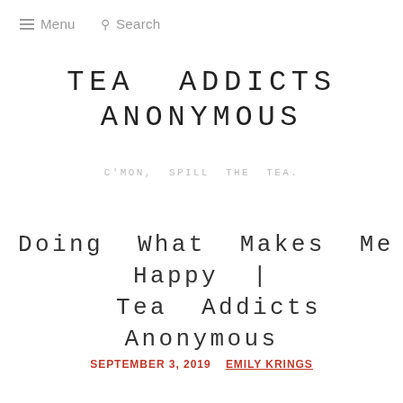≡ Menu  🔍 Search
TEA ADDICTS ANONYMOUS
C'MON, SPILL THE TEA.
Doing What Makes Me Happy | Tea Addicts Anonymous
SEPTEMBER 3, 2019  EMILY KRINGS